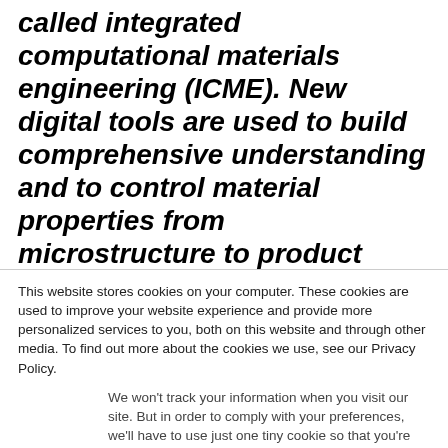called integrated computational materials engineering (ICME). New digital tools are used to build comprehensive understanding and to control material properties from microstructure to product design. This will speed up the product development and greatly improve the predictability of product endurance in demanding industrial applications.
This website stores cookies on your computer. These cookies are used to improve your website experience and provide more personalized services to you, both on this website and through other media. To find out more about the cookies we use, see our Privacy Policy.
We won't track your information when you visit our site. But in order to comply with your preferences, we'll have to use just one tiny cookie so that you're not asked to make this choice again.
Accept
Decline